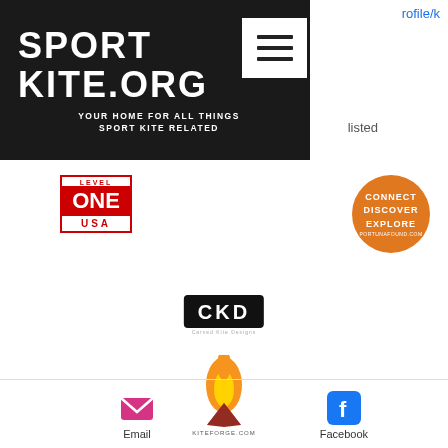[Figure (logo): SportKite.org website header banner with black background, site title SPORT KITE.ORG in bold white uppercase letters, tagline YOUR HOME FOR ALL THINGS SPORT KITE RELATED, and a white hamburger menu button]
rofile/k
listed
[Figure (logo): Level One USA logo with red border and red block letters on white background]
[Figure (logo): Connect Discover Explore orange circular badge]
[Figure (logo): CKD (Carved Kite Designs) black rectangular logo with white letters]
[Figure (logo): KiteForge.com logo with flame and kite graphic]
[Figure (logo): Email icon (pink envelope)]
Email
[Figure (logo): Facebook icon (blue F)]
Facebook